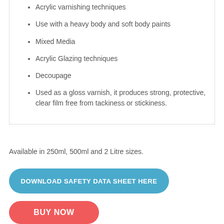Acrylic varnishing techniques
Use with a heavy body and soft body paints
Mixed Media
Acrylic Glazing techniques
Decoupage
Used as a gloss varnish, it produces strong, protective, clear film free from tackiness or stickiness.
Available in 250ml, 500ml and 2 Litre sizes.
DOWNLOAD SAFETY DATA SHEET HERE
BUY NOW